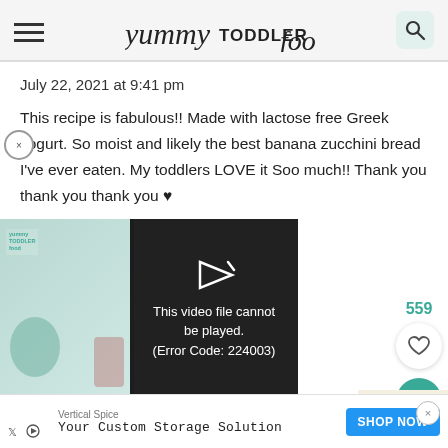yummy TODDLER food
July 22, 2021 at 9:41 pm
This recipe is fabulous!! Made with lactose free Greek yogurt. So moist and likely the best banana zucchini bread I've ever eaten. My toddlers LOVE it Soo much!! Thank you thank you thank you ♥
[Figure (screenshot): Video player showing error: 'This video file cannot be played. (Error Code: 224003)' with play button icon over dark overlay. Left side shows food/recipe image with yummy toddler food branding.]
559
Vertical Spice
Your Custom Storage Solution
SHOP NOW